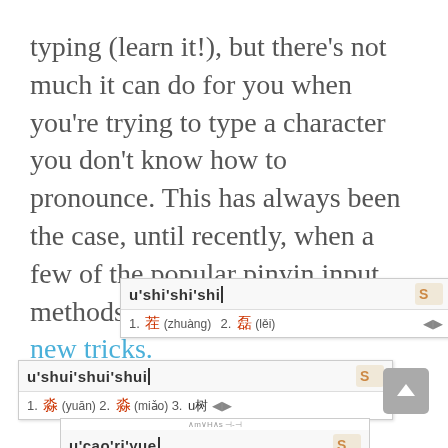typing (learn it!), but there's not much it can do for you when you're trying to type a character you don't know how to pronounce. This has always been the case, until recently, when a few of the popular pinyin input methods have started adding a few new tricks.
[Figure (screenshot): Screenshot of Sogou pinyin input method showing u'shi'shi'shi with results: 1. 茬 (zhuàng) 2. 磊 (lěi) with navigation arrows]
[Figure (screenshot): Screenshot of Sogou pinyin input method showing u'shui'shui'shui with results: 1. 淼 (yuān) 2. 淼 (miǎo) 3. u树 with navigation arrows]
[Figure (screenshot): Screenshot of Sogou pinyin input method showing u'cao'ri'yue (partially visible)]